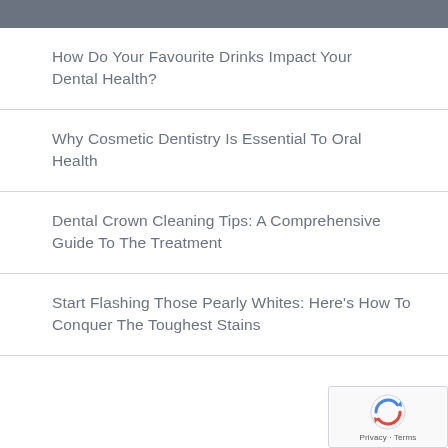How Do Your Favourite Drinks Impact Your Dental Health?
Why Cosmetic Dentistry Is Essential To Oral Health
Dental Crown Cleaning Tips: A Comprehensive Guide To The Treatment
Start Flashing Those Pearly Whites: Here's How To Conquer The Toughest Stains